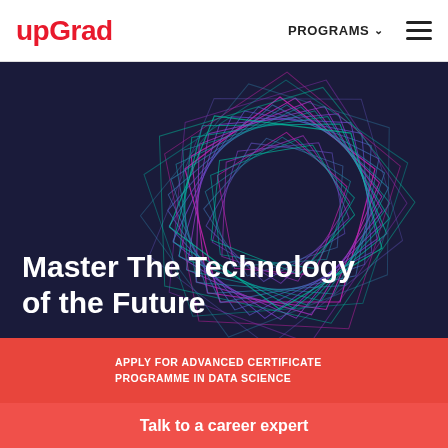upGrad | PROGRAMS
[Figure (illustration): Rotating geometric wireframe shape made of multiple overlapping hexagonal/pentagonal outlines, rendered in gradient colors from magenta/purple at top to teal/cyan at bottom, on dark navy background. Decorative tech/futuristic design element.]
Master The Technology of the Future
APPLY FOR ADVANCED CERTIFICATE PROGRAMME IN DATA SCIENCE
Talk to a career expert